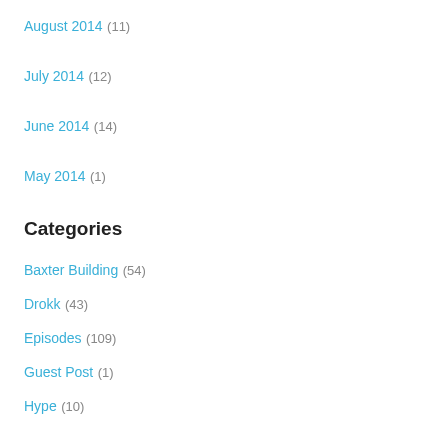August 2014 (11)
July 2014 (12)
June 2014 (14)
May 2014 (1)
Categories
Baxter Building (54)
Drokk (43)
Episodes (109)
Guest Post (1)
Hype (10)
Podcasts (292)
Posts (146)
Reviews (235)